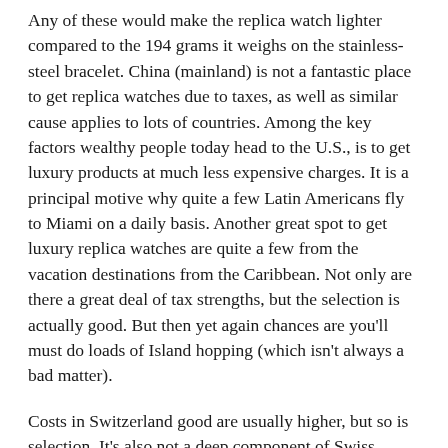Any of these would make the replica watch lighter compared to the 194 grams it weighs on the stainless-steel bracelet. China (mainland) is not a fantastic place to get replica watches due to taxes, as well as similar cause applies to lots of countries. Among the key factors wealthy people today head to the U.S., is to get luxury products at much less expensive charges. It is a principal motive why quite a few Latin Americans fly to Miami on a daily basis. Another great spot to get luxury replica watches are quite a few from the vacation destinations from the Caribbean. Not only are there a great deal of tax strengths, but the selection is actually good. But then yet again chances are you'll must do loads of Island hopping (which isn't always a bad matter).
Costs in Switzerland good are usually higher, but so is selection. It's also not a deep component of Swiss culture to bargain or give special discounts. Middle Eastern and Chinese retailers will be the ones who're quite possibly the most made use of to clients who want to negotiate. It may well seem like a contradiction, but